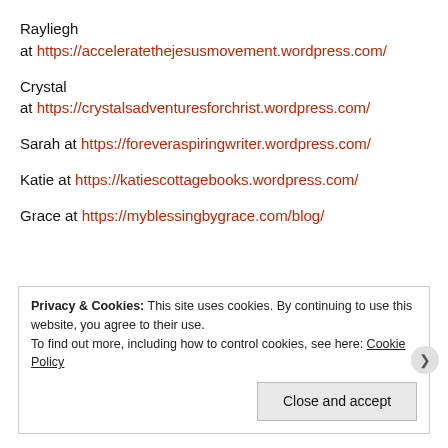Rayliegh
at https://acceleratethejesusmovement.wordpress.com/
Crystal
at https://crystalsadventuresforchrist.wordpress.com/
Sarah at https://foreveraspiringwriter.wordpress.com/
Katie at https://katiescottagebooks.wordpress.com/
Grace at https://myblessingbygrace.com/blog/
Privacy & Cookies: This site uses cookies. By continuing to use this website, you agree to their use.
To find out more, including how to control cookies, see here: Cookie Policy
Close and accept